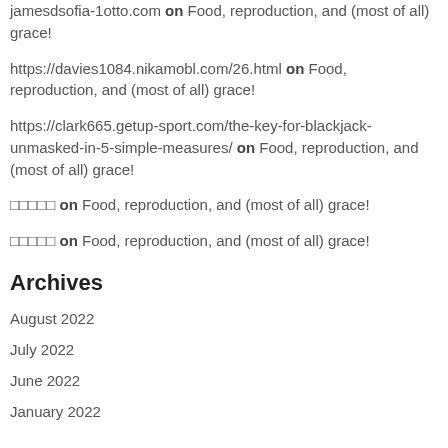jamesdsofia-1otto.com on Food, reproduction, and (most of all) grace!
https://davies1084.nikamobl.com/26.html on Food, reproduction, and (most of all) grace!
https://clark665.getup-sport.com/the-key-for-blackjack-unmasked-in-5-simple-measures/ on Food, reproduction, and (most of all) grace!
□□□□□ on Food, reproduction, and (most of all) grace!
□□□□□ on Food, reproduction, and (most of all) grace!
Archives
August 2022
July 2022
June 2022
January 2022